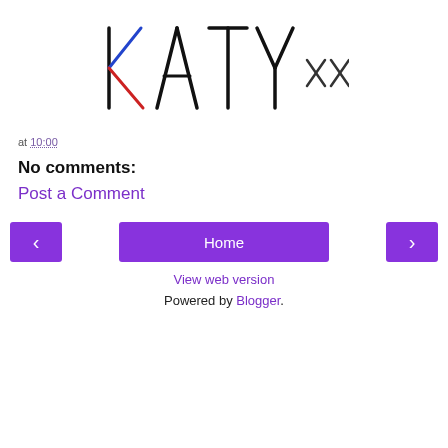[Figure (logo): Hand-drawn style logo reading KATY xx in black sketchy letters]
at 10:00
No comments:
Post a Comment
‹  Home  ›
View web version
Powered by Blogger.